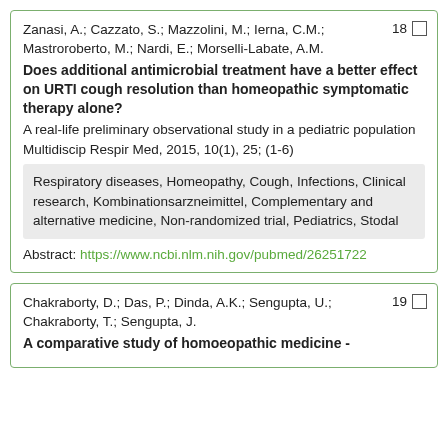Zanasi, A.; Cazzato, S.; Mazzolini, M.; Ierna, C.M.; Mastroroberto, M.; Nardi, E.; Morselli-Labate, A.M.
Does additional antimicrobial treatment have a better effect on URTI cough resolution than homeopathic symptomatic therapy alone?
A real-life preliminary observational study in a pediatric population
Multidiscip Respir Med, 2015, 10(1), 25; (1-6)
Respiratory diseases, Homeopathy, Cough, Infections, Clinical research, Kombinationsarzneimittel, Complementary and alternative medicine, Non-randomized trial, Pediatrics, Stodal
Abstract: https://www.ncbi.nlm.nih.gov/pubmed/26251722
Chakraborty, D.; Das, P.; Dinda, A.K.; Sengupta, U.; Chakraborty, T.; Sengupta, J.
A comparative study of homoeopathic medicine -